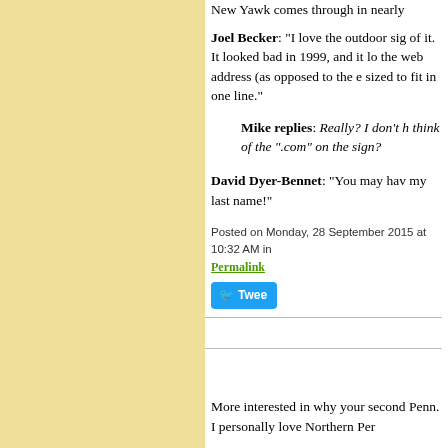New Yawk comes through in nearly
Joel Becker: "I love the outdoor sig of it. It looked bad in 1999, and it lo the web address (as opposed to the e sized to fit in one line."
Mike replies: Really? I don't h think of the ".com" on the sign?
David Dyer-Bennet: "You may hav my last name!"
Posted on Monday, 28 September 2015 at 10:32 AM in
Permalink
Tweet
More interested in why your second Penn. I personally love Northern Per